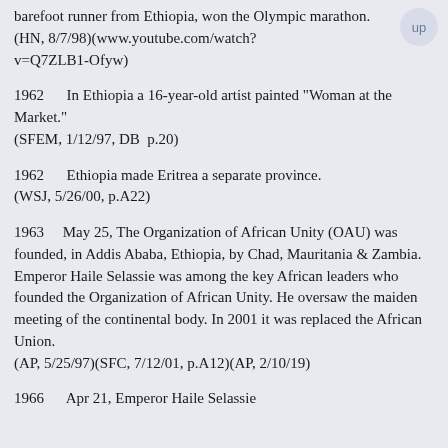barefoot runner from Ethiopia, won the Olympic marathon.
    (HN, 8/7/98)(www.youtube.com/watch?v=Q7ZLB1-Ofyw)
1962      In Ethiopia a 16-year-old artist painted "Woman at the Market."
    (SFEM, 1/12/97, DB  p.20)
1962      Ethiopia made Eritrea a separate province.
    (WSJ, 5/26/00, p.A22)
1963      May 25, The Organization of African Unity (OAU) was founded, in Addis Ababa, Ethiopia, by Chad, Mauritania & Zambia. Emperor Haile Selassie was among the key African leaders who founded the Organization of African Unity. He oversaw the maiden meeting of the continental body. In 2001 it was replaced the African Union.
    (AP, 5/25/97)(SFC, 7/12/01, p.A12)(AP, 2/10/19)
1966      Apr 21, Emperor Haile Selassie